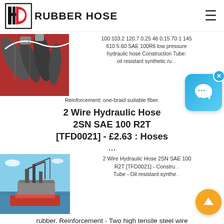[Figure (logo): HD Rubber Hose company logo with stylized H and D letters and red D, followed by bold text RUBBER HOSE]
[Figure (photo): Close-up of industrial hydraulic hoses and fittings, grey/black hoses on red background]
100 103.2 120.7 0.25 46 0.15 70 1 145 610 5.60 SAE 100R6 low pressure hydraulic hose Construction Tube: oil resistant synthetic ru... Reinforcement: one-braid suitable fiber.
2 Wire Hydraulic Hose 2SN SAE 100 R2T [TFD0021] - £2.63 : Hoses
...
[Figure (photo): Offshore oil drilling platform/rig at sea with cranes, red hull vessel nearby]
2 Wire Hydraulic Hose 2SN SAE 100 R2T [TFD0021] - Construction Tube - Oil resistant synthetic rubber. Reinforcement - Two high tensile steel wire braid. Cover - Abrasion and weather resistant synthetic